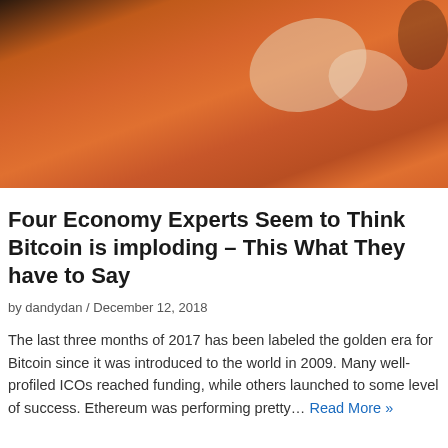[Figure (photo): Blurred orange and brown abstract background image, possibly a decorative header image for a Bitcoin/cryptocurrency article]
Four Economy Experts Seem to Think Bitcoin is imploding – This What They have to Say
by dandydan / December 12, 2018
The last three months of 2017 has been labeled the golden era for Bitcoin since it was introduced to the world in 2009. Many well-profiled ICOs reached funding, while others launched to some level of success. Ethereum was performing pretty… Read More »